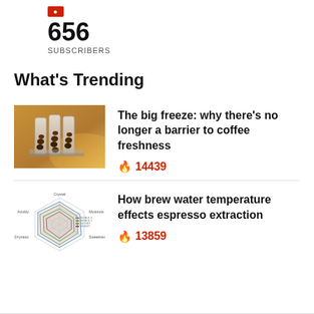656
SUBSCRIBERS
What's Trending
[Figure (photo): Photo of coffee beans in test tubes or glass vials on a table with warm bokeh background]
The big freeze: why there's no longer a barrier to coffee freshness
🔥 14439
[Figure (radar-chart): Radar chart showing coffee flavor profile with axes for Crystal, Moisture, Sweetness, Body, Dryness, Acidity and multiple overlapping polygons in light colors with legend]
How brew water temperature effects espresso extraction
🔥 13859